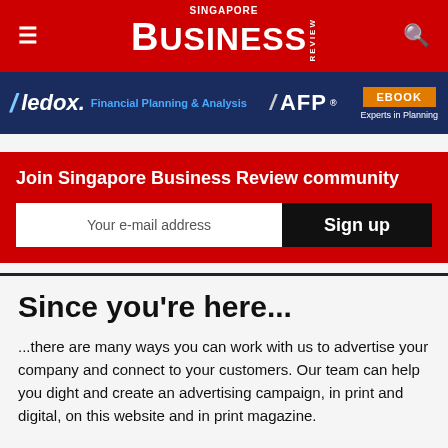Singapore Business Review
[Figure (screenshot): Advertisement banner for ledox Financial Planning & Analysis AFP EBOOK - Experts in Planning on dark blue background]
Join Singapore Business Review community
Your e-mail address
Sign up
Since you're here...
...there are many ways you can work with us to advertise your company and connect to your customers. Our team can help you dight and create an advertising campaign, in print and digital, on this website and in print magazine.

We can also organize a real life or digital event for you and find thought leader speakers as well as industry